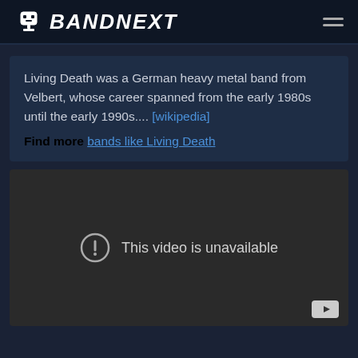BANDNEXT
Living Death was a German heavy metal band from Velbert, whose career spanned from the early 1980s until the early 1990s.... [wikipedia]
Find more bands like Living Death
[Figure (screenshot): Embedded video player showing 'This video is unavailable' error message with YouTube logo in bottom right corner]